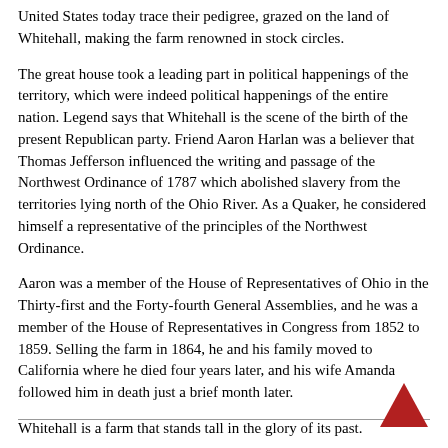United States today trace their pedigree, grazed on the land of Whitehall, making the farm renowned in stock circles.
The great house took a leading part in political happenings of the territory, which were indeed political happenings of the entire nation. Legend says that Whitehall is the scene of the birth of the present Republican party. Friend Aaron Harlan was a believer that Thomas Jefferson influenced the writing and passage of the Northwest Ordinance of 1787 which abolished slavery from the territories lying north of the Ohio River. As a Quaker, he considered himself a representative of the principles of the Northwest Ordinance.
Aaron was a member of the House of Representatives of Ohio in the Thirty-first and the Forty-fourth General Assemblies, and he was a member of the House of Representatives in Congress from 1852 to 1859. Selling the farm in 1864, he and his family moved to California where he died four years later, and his wife Amanda followed him in death just a brief month later.
Whitehall is a farm that stands tall in the glory of its past.
[Figure (logo): Red upward-pointing triangle/arrow logo in bottom-right corner]